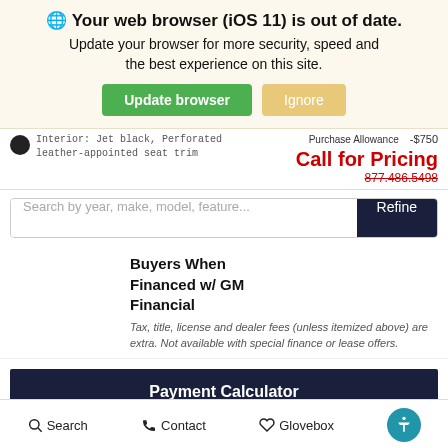🌐 Your web browser (iOS 11) is out of date. Update your browser for more security, speed and the best experience on this site.
Update browser | Ignore
Interior: Jet black, Perforated leather-appointed seat trim
Purchase Allowance  -$750
Call for Pricing
877.486.5498
Search by year, make, model, feature... Refine
Buyers When Financed w/ GM Financial
Tax, title, license and dealer fees (unless itemized above) are extra. Not available with special finance or lease offers.
Payment Calculator
Search  Contact  Glovebox